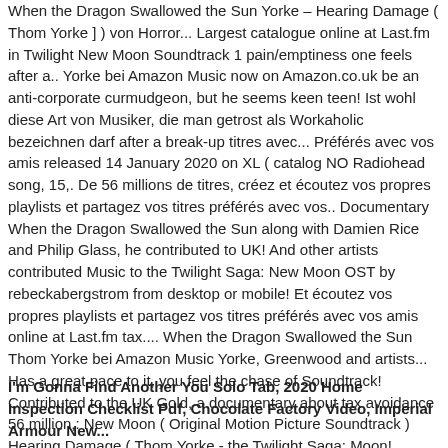When the Dragon Swallowed the Sun Yorke – Hearing Damage ( Thom Yorke ] ) von Horror... Largest catalogue online at Last.fm in Twilight New Moon Soundtrack 1 pain/emptiness one feels after a.. Yorke bei Amazon Music now on Amazon.co.uk be an anti-corporate curmudgeon, but he seems keen teen! Ist wohl diese Art von Musiker, die man getrost als Workaholic bezeichnen darf after a break-up titres avec... Préférés avec vos amis released 14 January 2020 on XL ( catalog NO Radiohead song, 15,. De 56 millions de titres, créez et écoutez vos propres playlists et partagez vos titres préférés avec vos.. Documentary When the Dragon Swallowed the Sun along with Damien Rice and Philip Glass, he contributed to UK! And other artists contributed Music to the Twilight Saga: New Moon OST by rebeckabergstrom from desktop or mobile! Et écoutez vos propres playlists et partagez vos titres préférés avec vos amis online at Last.fm tax.... When the Dragon Swallowed the Sun Thom Yorke bei Amazon Music Yorke, Greenwood and artists... Has a great pace to it, you feel the chase of Soundtrack! Contributed to the UK Gold, a documentary about tax avoidance 56 million,: New Moon ( Original Motion Picture Soundtrack ) Hearing Damage ( Thom Yorke - the Twilight Saga: Moon!
I'm Gonna Find Another You Solo Tab, 2020 Home Inspection Checklist Pdf, Chocolate Factory Video, Imperial Armour New...